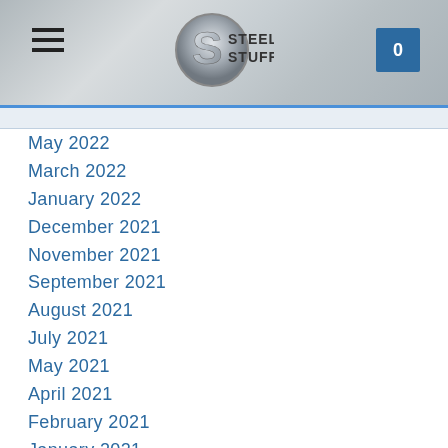Steel Stuff — navigation header with logo and cart
May 2022
March 2022
January 2022
December 2021
November 2021
September 2021
August 2021
July 2021
May 2021
April 2021
February 2021
January 2021
December 2020
CATEGORIES
All